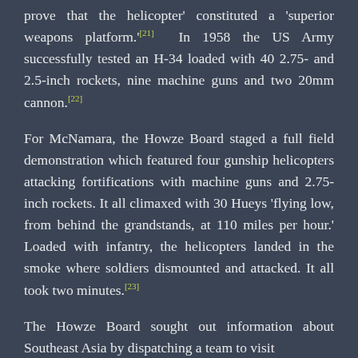prove that the helicopter' constituted a 'superior weapons platform.'[21] In 1958 the US Army successfully tested an H-34 loaded with 40 2.75- and 2.5-inch rockets, nine machine guns and two 20mm cannon.[22]
For McNamara, the Howze Board staged a full field demonstration which featured four gunship helicopters attacking fortifications with machine guns and 2.75-inch rockets. It all climaxed with 30 Hueys 'flying low, from behind the grandstands, at 110 miles per hour.' Loaded with infantry, the helicopters landed in the smoke where soldiers dismounted and attacked. It all took two minutes.[23]
The Howze Board sought out information about Southeast Asia by dispatching a team to visit